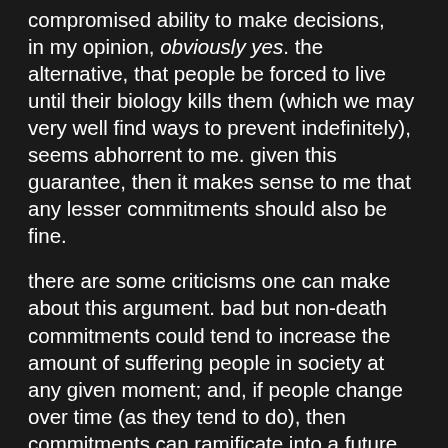compromised ability to make decisions, in my opinion, obviously yes. the alternative, that people be forced to live until their biology kills them (which we may very well find ways to prevent indefinitely), seems abhorrent to me. given this guarantee, then it makes sense to me that any lesser commitments should also be fine.
there are some criticisms one can make about this argument. bad but non-death commitments could tend to increase the amount of suffering people in society at any given moment; and, if people change over time (as they tend to do), then commitments can ramificate into a future person who is sufficiently different from the person making the commitment that it might be considered unreasonable for them to be subject to some excessive amounts of "locally" unconsented negative effects. a cap on the time duration of commitments, and/or the requirement for people to guarantee that they remain the same "enough" over time until the